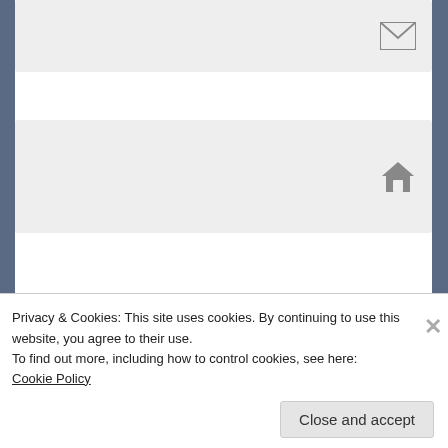[Figure (screenshot): Email input field with envelope icon on the right]
[Figure (screenshot): Website/URL input field with home icon on the right]
Post Comment
Notify me of new comments via email.
Notify me of new posts via email.
Privacy & Cookies: This site uses cookies. By continuing to use this website, you agree to their use.
To find out more, including how to control cookies, see here: Cookie Policy
Close and accept